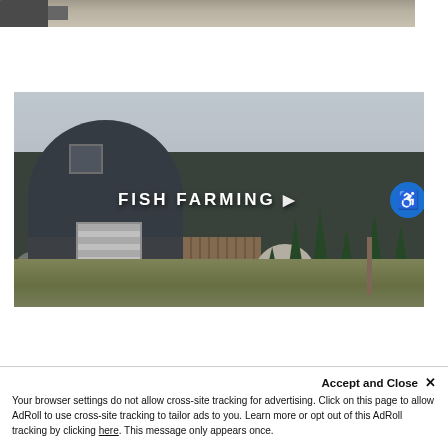[Figure (photo): Top partial photo showing water/muddy surface with truck/machinery on the left edge]
[Figure (screenshot): Video thumbnail showing a large dark dome-shaped metal building (fish farming facility) with a garage door, smaller dome in background, wooden panel walls, evergreen trees on right, grassy field in foreground. Text overlay reads FISH FARMING with a play button. Blue accessibility icon in top right corner of thumbnail.]
Accept and Close ✕
Your browser settings do not allow cross-site tracking for advertising. Click on this page to allow AdRoll to use cross-site tracking to tailor ads to you. Learn more or opt out of this AdRoll tracking by clicking here. This message only appears once.